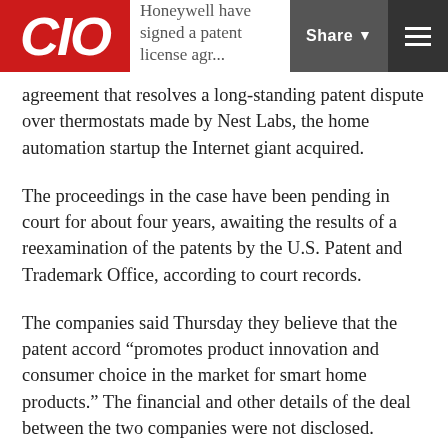CIO | Honeywell have signed a patent license agreement that resolves a long-standing patent dispute over thermostats made by Nest Labs, the home automation startup the Internet giant acquired. | Share | Menu
The proceedings in the case have been pending in court for about four years, awaiting the results of a reexamination of the patents by the U.S. Patent and Trademark Office, according to court records.
The companies said Thursday they believe that the patent accord “promotes product innovation and consumer choice in the market for smart home products.” The financial and other details of the deal between the two companies were not disclosed.
Honeywell, which sold its own line of thermostats, sued Nest and retailer Best Buy in 2012, claiming that the Nest Learning